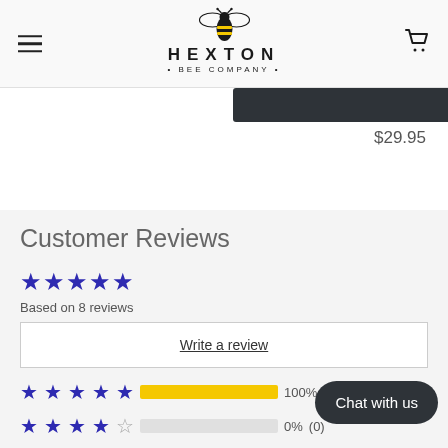Hexton Bee Company — navigation header with hamburger menu, logo, and cart icon
$29.95
Customer Reviews
Based on 8 reviews
Write a review
[Figure (infographic): 5-star rating bar: 100% (stars filled), with yellow progress bar at 100%]
[Figure (infographic): 4-star rating bar: 0% (0 reviews)]
Chat with us